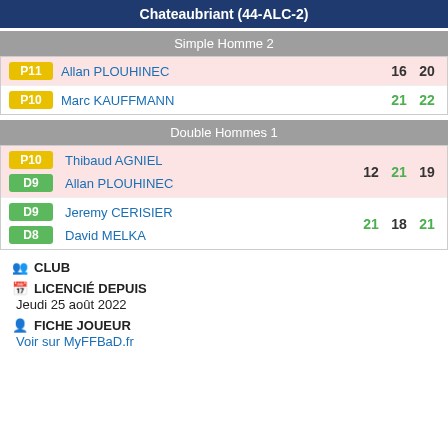Chateaubriant (44-ALC-2)
Simple Homme 2
| Badge | Player | S1 | S2 |
| --- | --- | --- | --- |
| P11 | Allan PLOUHINEC | 16 | 20 |
| P10 | Marc KAUFFMANN | 21 | 22 |
Double Hommes 1
| Badge | Player | S1 | S2 | S3 |
| --- | --- | --- | --- | --- |
| P10 | Thibaud AGNIEL | 12 | 21 | 19 |
| D9 | Allan PLOUHINEC |  |  |  |
| D9 | Jeremy CERISIER | 21 | 18 | 21 |
| D8 | David MELKA |  |  |  |
CLUB
LICENCIÉ DEPUIS
Jeudi 25 août 2022
FICHE JOUEUR
Voir sur MyFFBaD.fr